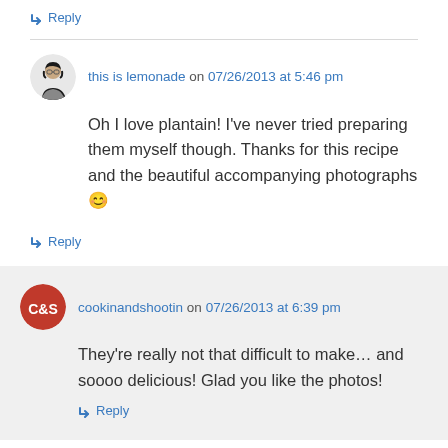↳ Reply
this is lemonade on 07/26/2013 at 5:46 pm
Oh I love plantain! I've never tried preparing them myself though. Thanks for this recipe and the beautiful accompanying photographs 🙂
↳ Reply
cookinandshootin on 07/26/2013 at 6:39 pm
They're really not that difficult to make… and soooo delicious! Glad you like the photos!
↳ Reply